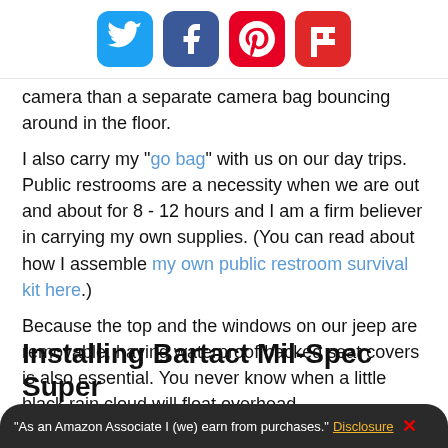[Figure (other): Social sharing icons: Twitter (blue), Facebook (dark blue), Pinterest (red), Flipboard (red)]
camera than a separate camera bag bouncing around in the floor.
I also carry my "go bag" with us on our day trips. Public restrooms are a necessity when we are out and about for 8 - 12 hours and I am a firm believer in carrying my own supplies. (You can read about how I assemble my own public restroom survival kit here.)
Because the top and the windows on our jeep are removable, having waterproof backed seat covers is also essential. You never know when a little black rain cloud will float overhead.
Installing Bartact Mil-Spec Super
"As an Amazon Associate I (we) earn from purchases." Disclosure X